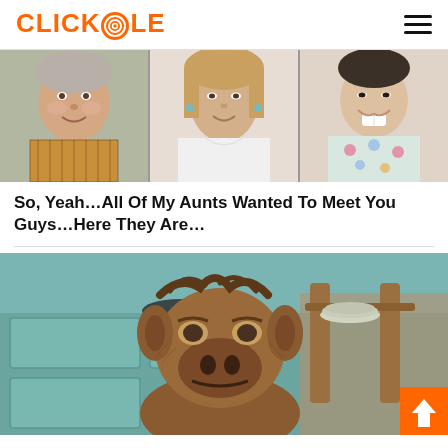CLICKHOLE
[Figure (photo): Three older women smiling, shown in a triptych of portrait photos side by side]
So, Yeah…All Of My Aunts Wanted To Meet You Guys…Here They Are…
[Figure (photo): ALF puppet character sitting at a kitchen table looking at the camera, kitchen background with teal cabinets]